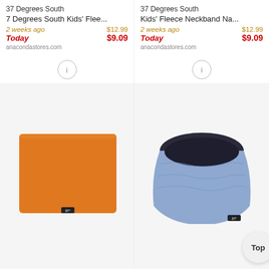37 Degrees South
7 Degrees South Kids' Flee...
2 weeks ago  $12.99
Today  $9.09
anacondastores.com
[Figure (photo): Orange fleece neckband/neck gaiter product with 37 Degrees South logo tag at bottom center]
37 Degrees South
Kids' Fleece Neckband Na...
2 weeks ago  $12.99
Today  $9.09
anacondastores.com
[Figure (photo): Blue/periwinkle fleece neckband product with dark interior visible at top, 37 Degrees South logo tag at bottom right, with a 'Top' button overlay at bottom right]